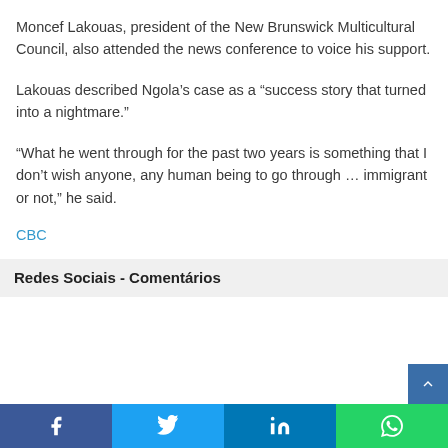Moncef Lakouas, president of the New Brunswick Multicultural Council, also attended the news conference to voice his support.
Lakouas described Ngola’s case as a “success story that turned into a nightmare.”
“What he went through for the past two years is something that I don’t wish anyone, any human being to go through … immigrant or not,” he said.
CBC
Redes Sociais - Comentários
[Figure (other): Social media share buttons: Facebook, Twitter, LinkedIn, WhatsApp]